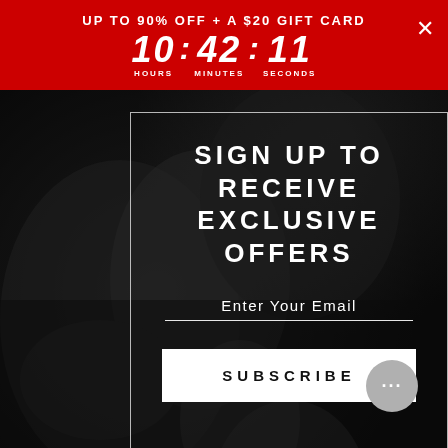UP TO 90% OFF + A $20 GIFT CARD  10 : 42 : 11  HOURS  MINUTES  SECONDS
[Figure (photo): Dark monochrome background photo of a person in a dark jacket, used as modal/popup background]
SIGN UP TO RECEIVE EXCLUSIVE OFFERS
Enter Your Email
SUBSCRIBE